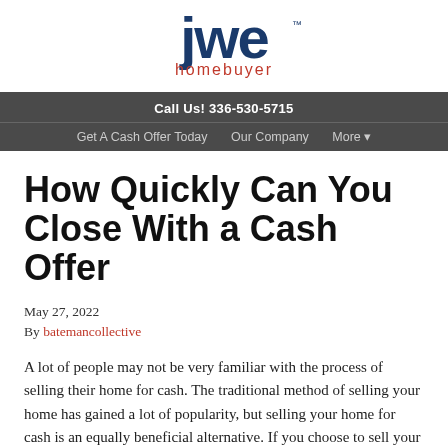[Figure (logo): JWE Homebuyer logo — stylized blue JWE letters with 'homebuyer' in coral/salmon color below]
Call Us! 336-530-5715
Get A Cash Offer Today   Our Company   More ▾
How Quickly Can You Close With a Cash Offer
May 27, 2022
By batemancollective
A lot of people may not be very familiar with the process of selling their home for cash. The traditional method of selling your home has gained a lot of popularity, but selling your home for cash is an equally beneficial alternative. If you choose to sell your home for cash, this